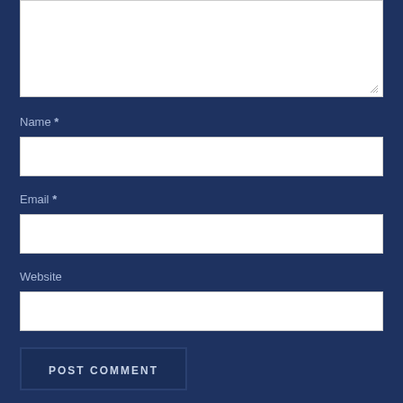[Figure (screenshot): Top portion of a comment form showing a textarea input field with a resize handle in the bottom-right corner, on a dark navy blue background.]
Name *
[Figure (screenshot): Name input field, white rectangle on navy background.]
Email *
[Figure (screenshot): Email input field, white rectangle on navy background.]
Website
[Figure (screenshot): Website input field, white rectangle on navy background.]
POST COMMENT